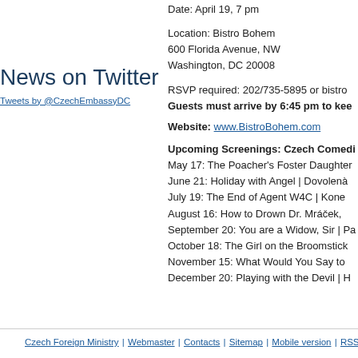Date: April 19, 7 pm
Location: Bistro Bohem
600 Florida Avenue, NW
Washington, DC 20008
RSVP required: 202/735-5895 or bistro
Guests must arrive by 6:45 pm to kee
Website: www.BistroBohem.com
News on Twitter
Tweets by @CzechEmbassyDC
Upcoming Screenings: Czech Comedi
May 17: The Poacher's Foster Daughter
June 21: Holiday with Angel | Dovolenà
July 19: The End of Agent W4C | Kone
August 16: How to Drown Dr. Mráček,
September 20: You are a Widow, Sir | Pa
October 18: The Girl on the Broomstick
November 15: What Would You Say to
December 20: Playing with the Devil | H
Czech Foreign Ministry | Webmaster | Contacts | Sitemap | Mobile version | RSS